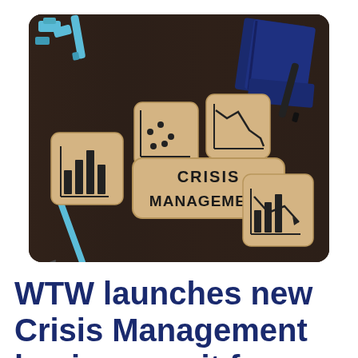[Figure (photo): Photo of wooden tiles on a dark desk showing financial chart icons (bar chart, scatter plot, line chart, declining chart with arrow) and a central wooden plaque reading 'CRISIS MANAGEMENT'. Blue office supplies including binder clips, a pen, and notebooks are visible in the background.]
WTW launches new Crisis Management business unit for